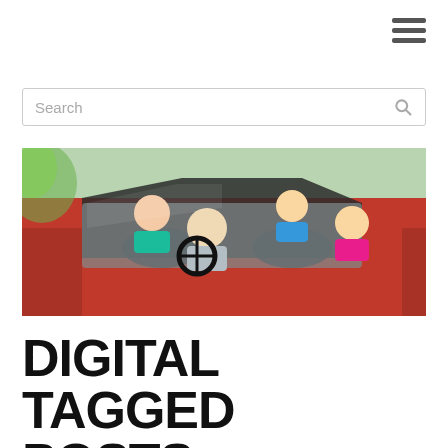[Figure (other): Hamburger menu icon (three horizontal bars) in top right corner]
Search
[Figure (photo): Overhead view of a happy family of four sitting in a red convertible car — a man driving, a woman in the passenger seat, and two children in the back seat, all smiling and looking up at the camera]
DIGITAL TAGGED POSTS